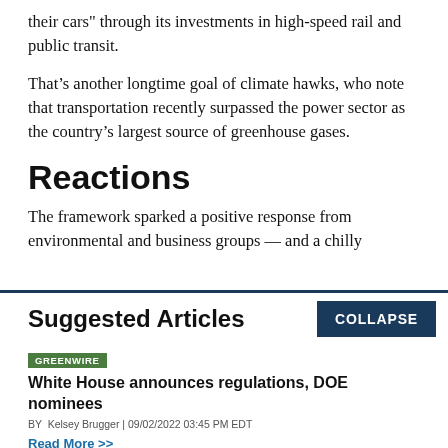their cars" through its investments in high-speed rail and public transit.
That’s another longtime goal of climate hawks, who note that transportation recently surpassed the power sector as the country’s largest source of greenhouse gases.
Reactions
The framework sparked a positive response from environmental and business groups — and a chilly
Suggested Articles
COLLAPSE
GREENWIRE
White House announces regulations, DOE nominees
BY Kelsey Brugger | 09/02/2022 03:45 PM EDT
Read More >>
GREENWIRE
Murkowski, GOP challenger clash over Haaland, drilling,